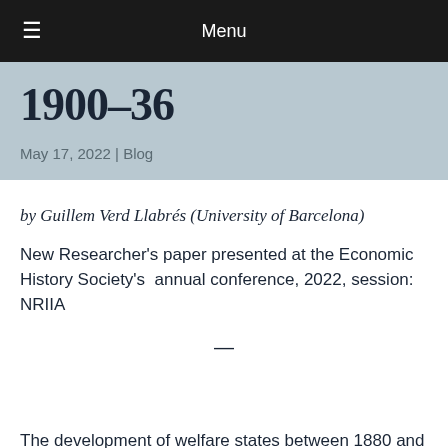≡  Menu
1900–36
May 17, 2022 | Blog
by Guillem Verd Llabrés (University of Barcelona)
New Researcher's paper presented at the Economic History Society's  annual conference, 2022, session: NRIIA
—
The development of welfare states between 1880 and